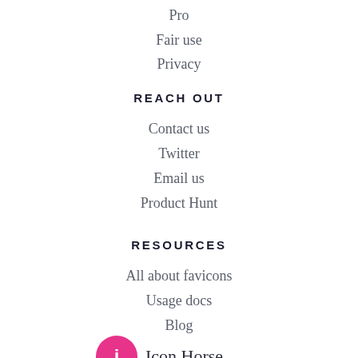Pro
Fair use
Privacy
REACH OUT
Contact us
Twitter
Email us
Product Hunt
RESOURCES
All about favicons
Usage docs
Blog
[Figure (logo): Pink circular logo icon with stylized letter, next to brand name 'Icon Horse']